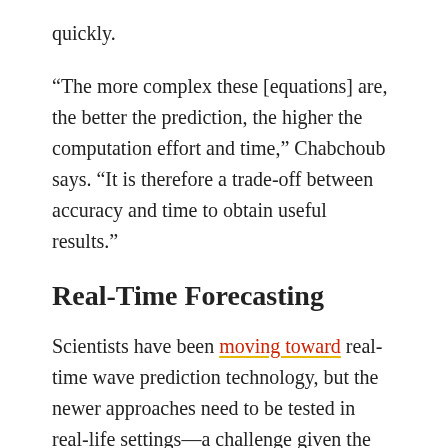quickly.
“The more complex these [equations] are, the better the prediction, the higher the computation effort and time,” Chabchoub says. “It is therefore a trade-off between accuracy and time to obtain useful results.”
Real-Time Forecasting
Scientists have been moving toward real-time wave prediction technology, but the newer approaches need to be tested in real-life settings—a challenge given the rarity of rogue waves. In many cases, the computation